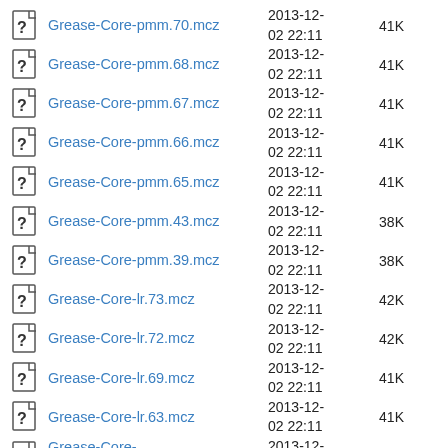Grease-Core-pmm.70.mcz  2013-12-02 22:11  41K
Grease-Core-pmm.68.mcz  2013-12-02 22:11  41K
Grease-Core-pmm.67.mcz  2013-12-02 22:11  41K
Grease-Core-pmm.66.mcz  2013-12-02 22:11  41K
Grease-Core-pmm.65.mcz  2013-12-02 22:11  41K
Grease-Core-pmm.43.mcz  2013-12-02 22:11  38K
Grease-Core-pmm.39.mcz  2013-12-02 22:11  38K
Grease-Core-lr.73.mcz  2013-12-02 22:11  42K
Grease-Core-lr.72.mcz  2013-12-02 22:11  42K
Grease-Core-lr.69.mcz  2013-12-02 22:11  41K
Grease-Core-lr.63.mcz  2013-12-02 22:11  41K
Grease-Core-MrCleaner.64.mcz  2013-12-02 22:11  41K